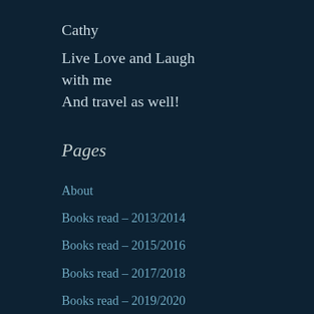Cathy
Live Love and Laugh with me
And travel as well!
Pages
About
Books read – 2013/2014
Books read – 2015/2016
Books read – 2017/2018
Books read – 2019/2020
Books Read in 2021/2022
Books read…